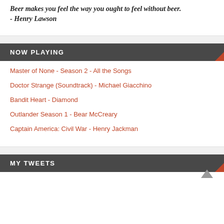Beer makes you feel the way you ought to feel without beer. - Henry Lawson
NOW PLAYING
Master of None - Season 2 - All the Songs
Doctor Strange (Soundtrack) - Michael Giacchino
Bandit Heart - Diamond
Outlander Season 1 - Bear McCreary
Captain America: Civil War - Henry Jackman
MY TWEETS